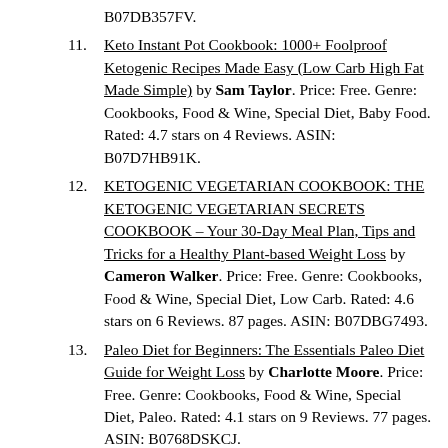B07DB357FV.
Keto Instant Pot Cookbook: 1000+ Foolproof Ketogenic Recipes Made Easy (Low Carb High Fat Made Simple) by Sam Taylor. Price: Free. Genre: Cookbooks, Food & Wine, Special Diet, Baby Food. Rated: 4.7 stars on 4 Reviews. ASIN: B07D7HB91K.
KETOGENIC VEGETARIAN COOKBOOK: THE KETOGENIC VEGETARIAN SECRETS COOKBOOK – Your 30-Day Meal Plan, Tips and Tricks for a Healthy Plant-based Weight Loss by Cameron Walker. Price: Free. Genre: Cookbooks, Food & Wine, Special Diet, Low Carb. Rated: 4.6 stars on 6 Reviews. 87 pages. ASIN: B07DBG7493.
Paleo Diet for Beginners: The Essentials Paleo Diet Guide for Weight Loss by Charlotte Moore. Price: Free. Genre: Cookbooks, Food & Wine, Special Diet, Paleo. Rated: 4.1 stars on 9 Reviews. 77 pages. ASIN: B0768DSKCJ.
Air Fryer Cookbook: Easy Delicious and Healthy...